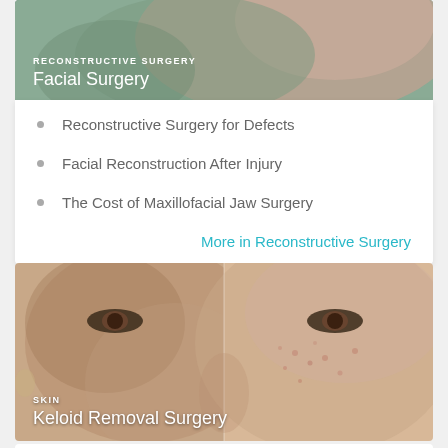[Figure (photo): Reconstructive Surgery facial surgery header image showing face/hands]
RECONSTRUCTIVE SURGERY
Facial Surgery
Reconstructive Surgery for Defects
Facial Reconstruction After Injury
The Cost of Maxillofacial Jaw Surgery
More in Reconstructive Surgery
[Figure (photo): Skin / Keloid Removal Surgery header image showing split-face comparison photo of woman]
SKIN
Keloid Removal Surgery